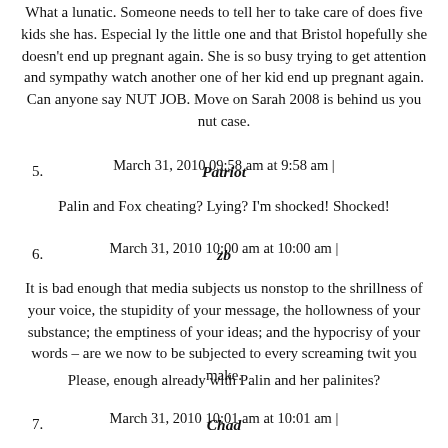What a lunatic. Someone needs to tell her to take care of does five kids she has. Especial ly the little one and that Bristol hopefully she doesn't end up pregnant again. She is so busy trying to get attention and sympathy watch another one of her kid end up pregnant again. Can anyone say NUT JOB. Move on Sarah 2008 is behind us you nut case.
March 31, 2010 09:58 am at 9:58 am |
5. Patriot
Palin and Fox cheating? Lying? I'm shocked! Shocked!
March 31, 2010 10:00 am at 10:00 am |
6. zb
It is bad enough that media subjects us nonstop to the shrillness of your voice, the stupidity of your message, the hollowness of your substance; the emptiness of your ideas; and the hypocrisy of your words – are we now to be subjected to every screaming twit you make.
Please, enough already with Palin and her palinites?
March 31, 2010 10:01 am at 10:01 am |
7. Chad